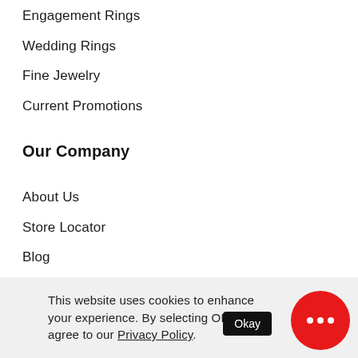Engagement Rings
Wedding Rings
Fine Jewelry
Current Promotions
Our Company
About Us
Store Locator
Blog
Affiliate Program
Retailer Login
Help
This website uses cookies to enhance your experience. By selecting OKAY, you agree to our Privacy Policy.